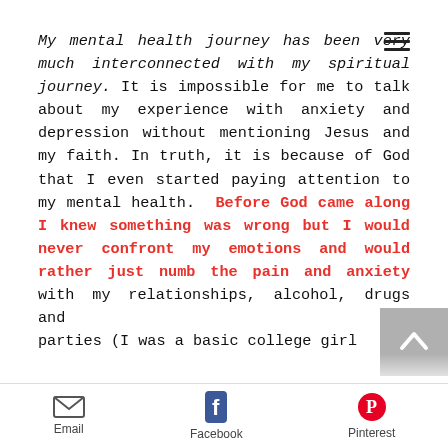My mental health journey has been very much interconnected with my spiritual journey. It is impossible for me to talk about my experience with anxiety and depression without mentioning Jesus and my faith. In truth, it is because of God that I even started paying attention to my mental health. Before God came along I knew something was wrong but I would never confront my emotions and would rather just numb the pain and anxiety with my relationships, alcohol, drugs and parties (I was a basic college girl
Email  Facebook  Pinterest